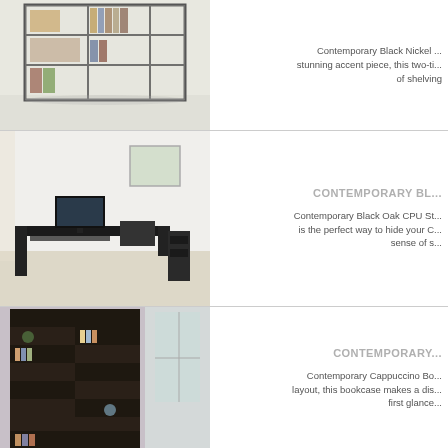[Figure (photo): Bookcase with shelves and books on white background]
Contemporary Black Nickel ... stunning accent piece, this two-ti... of shelving
[Figure (photo): Black oak computer desk with CPU stand and monitor in room setting]
CONTEMPORARY BL...
Contemporary Black Oak CPU St... is the perfect way to hide your C... sense of s...
[Figure (photo): Contemporary cappuccino bookcase with geometric alternating shelf layout]
CONTEMPORARY...
Contemporary Cappuccino Bo... layout, this bookcase makes a dis... first glance...